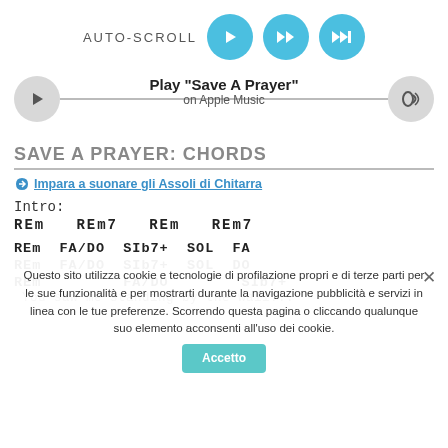[Figure (screenshot): Auto-scroll controls with play, fast-forward, and skip-forward buttons in teal circles]
[Figure (screenshot): Music player bar with play button and speaker icon, showing 'Play "Save A Prayer" on Apple Music']
SAVE A PRAYER: CHORDS
🎸 Impara a suonare gli Assoli di Chitarra
Intro:
REm   REm7   REm   REm7
REm  FA/DO  SIb7+  SOL  FA
REm  FA/DO  SIb7+  SOL  DO
REm         FA/DO         SIb7+
You saw me standing by the wall...
Cookie notice overlay text
Accetto